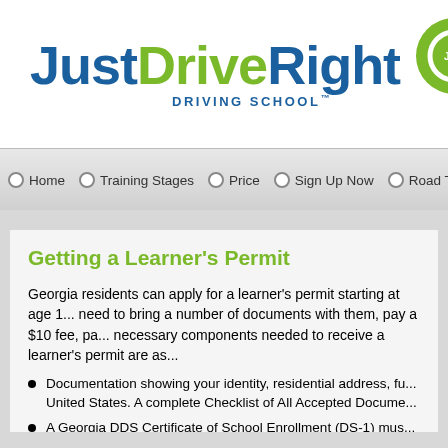[Figure (logo): JustDriveRight Driving School logo with green and blue text and circular arrow icon]
DRIVING SCHOOL™
Home   Training Stages   Price   Sign Up Now   Road T...
Getting a Learner's Permit
Georgia residents can apply for a learner's permit starting at age 1... need to bring a number of documents with them, pay a $10 fee, pa... necessary components needed to receive a learner's permit are as...
Documentation showing your identity, residential address, fu... United States. A complete Checklist of All Accepted Docume...
A Georgia DDS Certificate of School Enrollment (DS-1) mus... days.
All applicants under the age of 18 not enrolled in school mu... school completion, or proof of enrollment in a GED program...